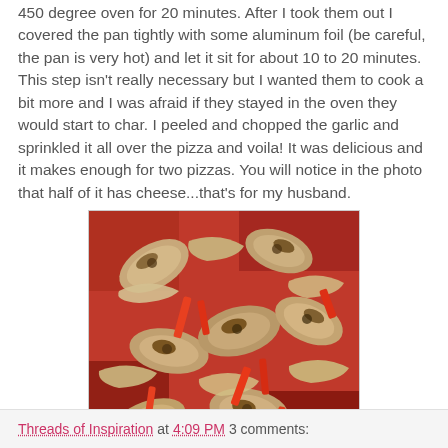450 degree oven for 20 minutes.  After I took them out I covered the pan tightly with some aluminum foil (be careful, the pan is very hot) and let it sit for about 10 to 20 minutes.  This step isn't really necessary but I wanted them to cook a bit more and I was afraid if they stayed in the oven they would start to char.  I peeled and chopped the garlic and sprinkled it all over the pizza and voila!  It was delicious and it makes enough for two pizzas.  You will notice in the photo that half of it has cheese...that's for my husband.
[Figure (photo): Close-up photo of pizza topped with sauteed mushrooms, caramelized onions, and red pepper strips on a tomato sauce base.]
Threads of Inspiration at 4:09 PM    3 comments: